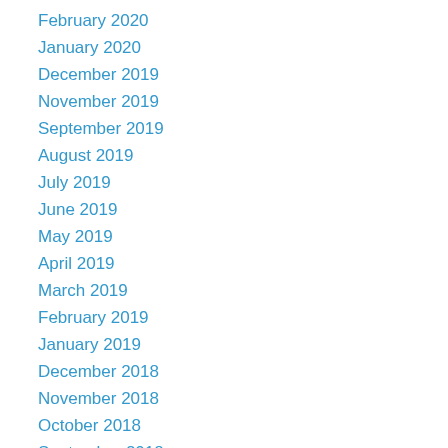February 2020
January 2020
December 2019
November 2019
September 2019
August 2019
July 2019
June 2019
May 2019
April 2019
March 2019
February 2019
January 2019
December 2018
November 2018
October 2018
September 2018
July 2018
May 2018
March 2018